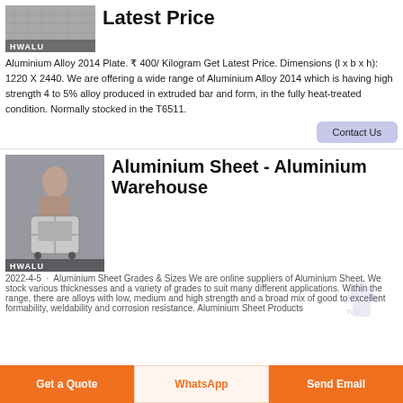[Figure (photo): HWALU branded aluminium plate product photo, grey texture]
Latest Price
Aluminium Alloy 2014 Plate. ₹ 400/ Kilogram Get Latest Price. Dimensions (l x b x h): 1220 X 2440. We are offering a wide range of Aluminium Alloy 2014 which is having high strength 4 to 5% alloy produced in extruded bar and form, in the fully heat-treated condition. Normally stocked in the T6511.
Contact Us
[Figure (photo): HWALU branded aluminium suitcase held by a woman, grey background]
Aluminium Sheet - Aluminium Warehouse
2022-4-5  ·  Aluminium Sheet Grades & Sizes We are online suppliers of Aluminium Sheet. We stock various thicknesses and a variety of grades to suit many different applications. Within the range, there are alloys with low, medium and high strength and a broad mix of good to excellent formability, weldability and corrosion resistance. Aluminium Sheet Products
Get a Quote
WhatsApp
Send Email